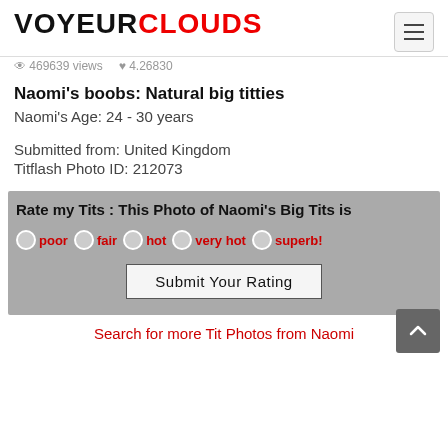VOYEURCLOUDS
469639 views   4.26830
Naomi's boobs: Natural big titties
Naomi's Age: 24 - 30 years
Submitted from: United Kingdom
Titflash Photo ID: 212073
[Figure (other): Rating widget with radio buttons labeled poor, fair, hot, very hot, superb! and a Submit Your Rating button on a grey background]
Search for more Tit Photos from Naomi